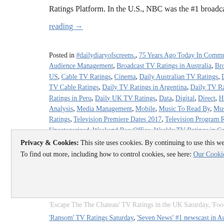Ratings Platform. In the U.S., NBC was the #1 broadcast netwo…
reading →
Posted in #dailydiaryofscreens., 75 Years Ago Today In Communications, Audience Management, Broadcast TV Ratings in Australia, Broadcast TV Ratings in US, Cable TV Ratings, Cinema, Daily Australian TV Ratings, Daily Broadcast TV Cable Ratings, Daily TV Ratings in Argentina, Daily TV Ratings in Colombia, Ratings in Peru, Daily UK TV Ratings, Data, Digital, Direct, Hispanic TV Ratings, Analysis, Media Management, Mobile, Music To Read By, Music To Read over Ratings, Television Premiere Dates 2017, Television Program Renewals, Uncategorized, Weekend Box Office, Weekly TV Ratings in Canada | Tagged Sunday, '2017 Australian Swimming Championships - Live' TV Ratings in AU Sunday, 'AFL Live' featuring Rnd 3:Fremantle V Western Bulldogs' TV Ratings, Mrs Brown' TV Ratings in the Uk Saturday, 'An Evening with Take That' Tv Ratings, Saturday Night Takeaway' #1 program in the UK Saturday 040817, 'Battleship Security: America's Front Line' TV Ratings in AU Sunday, 'Can't Pay? We'll Ta... 'Casualty' TV Ratings in the UK Saturday, 'Dateline' #1 program Saturday 040... 'Escape The The Chateau' TV Ratings in the UK Saturday, 'Football on 5:The…
Privacy & Cookies: This site uses cookies. By continuing to use this website, you agree to their use.
To find out more, including how to control cookies, see here: Our Cookie Policy
Close and accept
'Ransom' TV Ratings Saturday, 'Seven News' #1 newscast in Australia Su…